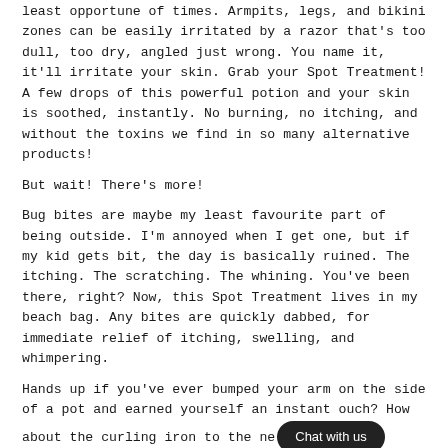least opportune of times. Armpits, legs, and bikini zones can be easily irritated by a razor that's too dull, too dry, angled just wrong. You name it, it'll irritate your skin. Grab your Spot Treatment! A few drops of this powerful potion and your skin is soothed, instantly. No burning, no itching, and without the toxins we find in so many alternative products!
But wait! There's more!
Bug bites are maybe my least favourite part of being outside. I'm annoyed when I get one, but if my kid gets bit, the day is basically ruined. The itching. The scratching. The whining. You've been there, right? Now, this Spot Treatment lives in my beach bag. Any bites are quickly dabbed, for immediate relief of itching, swelling, and whimpering.
Hands up if you've ever bumped your arm on the side of a pot and earned yourself an instant ouch? How about the curling iron to the neck — that classic move for fancy occasions.  Spot Treatment, again, with ingredients designed to heal and soothe, this bottle is a fabulous solution for minor burns, scrapes, and anything else you've put your skin through!